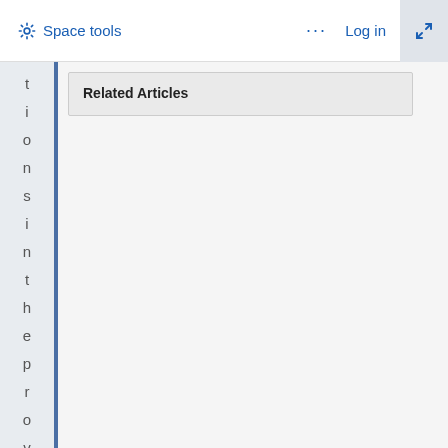Space tools  ...  Log in
Related Articles
t i o n s i n t h e p r o v i d